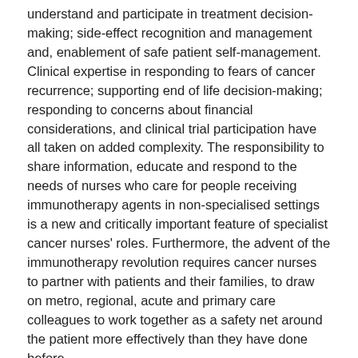understand and participate in treatment decision-making; side-effect recognition and management and, enablement of safe patient self-management.  Clinical expertise in responding to fears of cancer recurrence; supporting end of life decision-making; responding to concerns about financial considerations, and clinical trial participation have all taken on added complexity. The responsibility to share information, educate and respond to the needs of nurses who care for people receiving immunotherapy agents in non-specialised settings is a new and critically important feature of specialist cancer nurses' roles. Furthermore, the advent of the immunotherapy revolution requires cancer nurses to partner with patients and their families, to draw on metro, regional, acute and primary care colleagues to work together as a safety net around the patient more effectively than they have done before.
This paper will offer perspectives on the impact of immunotherapy on cancer nursing and will discuss examples of how nurses are already rising to the immunotherapy challenge to support and benefit patients.